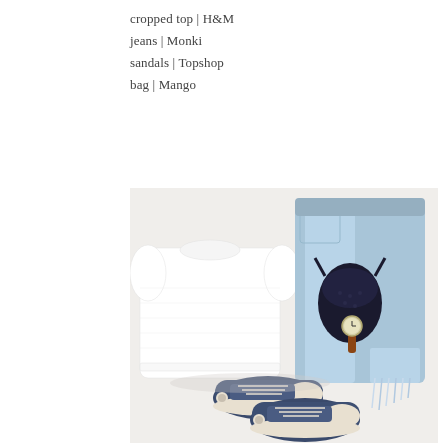cropped top | H&M
jeans | Monki
sandals | Topshop
bag | Mango
[Figure (photo): Flat lay of a white cropped top, distressed light-wash jeans, navy blue Converse sneakers, a black lace bralette, and a watch with a brown leather strap, arranged on a white surface.]